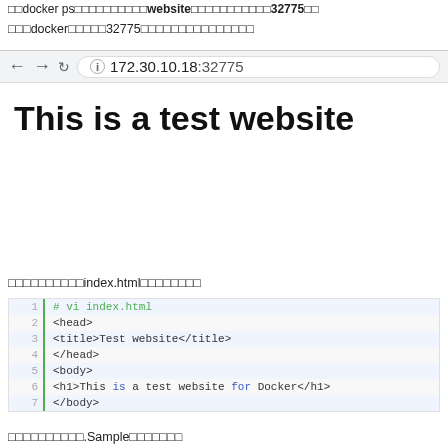dockerのpsコマンドでwebsiteコンテナがポート32775で...
このdockerはポート32775でアクセスできることがわかる。
[Figure (screenshot): Browser address bar showing 172.30.10.18:32775]
[Figure (screenshot): Browser page showing 'This is a test website' heading]
コンテナの中でindex.htmlを作成する
[Figure (screenshot): Code editor showing index.html with 7 lines: vi index.html, <head>, <title>Test website</title>, </head>, <body>, <h1>This is a test website for Docker</h1>, </body>]
次にSampleを作成する